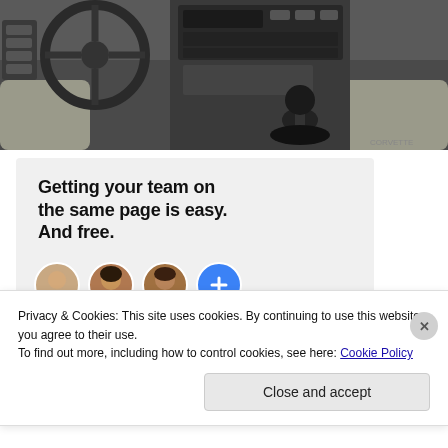[Figure (photo): Car interior showing steering wheel, center console with gear shift, radio/stereo unit, and gray upholstery]
[Figure (infographic): Advertisement banner with text 'Getting your team on the same page is easy. And free.' and three circular avatar photos plus a blue circle with plus icon]
Privacy & Cookies: This site uses cookies. By continuing to use this website, you agree to their use.
To find out more, including how to control cookies, see here: Cookie Policy
Close and accept